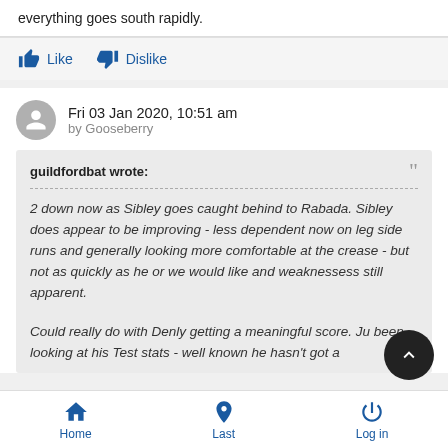everything goes south rapidly.
Like   Dislike
Fri 03 Jan 2020, 10:51 am
by Gooseberry
guildfordbat wrote:
2 down now as Sibley goes caught behind to Rabada. Sibley does appear to be improving - less dependent now on leg side runs and generally looking more comfortable at the crease - but not as quickly as he or we would like and weaknessess still apparent.

Could really do with Denly getting a meaningful score. Ju been looking at his Test stats - well known he hasn't got a
Home   Last   Log in